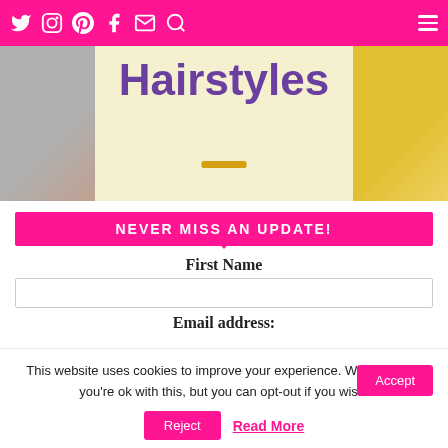Social media icons and hamburger menu on pink header
[Figure (photo): Website banner with 'Hairstyles' title in purple text on cream background, with photos on left and right sides and gold underline]
NEVER MISS AN UPDATE!
First Name
Email address:
This website uses cookies to improve your experience. We'll assume you're ok with this, but you can opt-out if you wish.
Accept
Reject
Read More